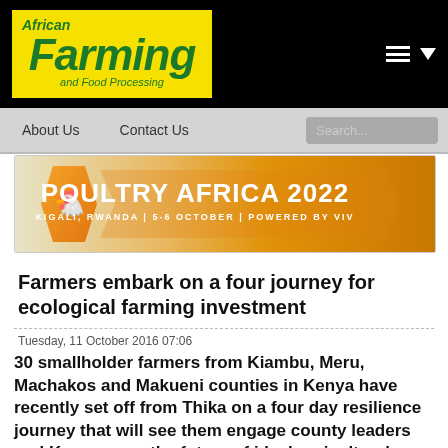African Farming and Food Processing
[Figure (logo): African Farming and Food Processing logo on yellow background]
[Figure (infographic): Poultry Africa 2022 banner - Kigali, Rwanda | 5-6 October | Powered by VIV]
Farmers embark on a four journey for ecological farming investment
Tuesday, 11 October 2016 07:06
30 smallholder farmers from Kiambu, Meru, Machakos and Makueni counties in Kenya have recently set off from Thika on a four day resilience journey that will see them engage county leaders and Kenyans on the future of ideal agricultural system that they envision for Kenya and the continent